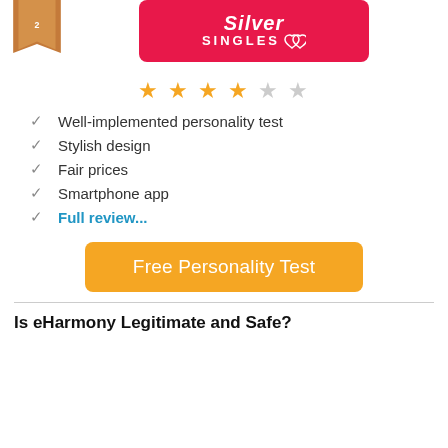[Figure (logo): SilverSingles logo on pink/red banner, with a bronze ribbon badge on the left]
[Figure (other): Star rating: 3.5 out of 5 stars (4 filled, 1 half, displayed as golden stars)]
Well-implemented personality test
Stylish design
Fair prices
Smartphone app
Full review...
[Figure (other): Orange button labeled 'Free Personality Test']
Is eHarmony Legitimate and Safe?